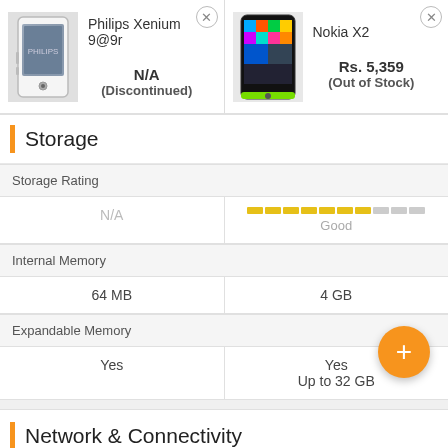Philips Xenium 9@9r
N/A (Discontinued)
Nokia X2
Rs. 5,359 (Out of Stock)
Storage
|  | Philips Xenium 9@9r | Nokia X2 |
| --- | --- | --- |
| Storage Rating | N/A | Good |
| Internal Memory | 64 MB | 4 GB |
| Expandable Memory | Yes | Yes
Up to 32 GB |
Network & Connectivity
SIM Slot(s)